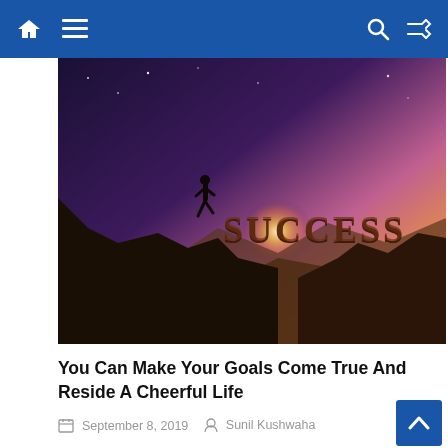Navigation bar with home, menu, search, shuffle icons
[Figure (photo): Motivational image of a person silhouetted on a cliff edge with the word SUCCESS bridging two cliffs, dramatic sunset/galaxy sky background]
You Can Make Your Goals Come True And Reside A Cheerful Life
September 8, 2019   Sunil Kushwaha
[Figure (photo): Partial view of a planning board or flowchart with papers and colored pins on a wall]